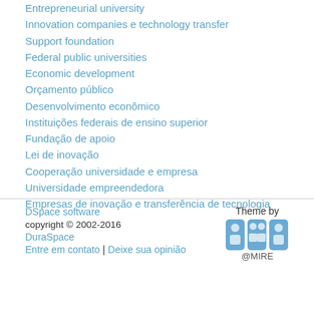Entrepreneurial university
Innovation companies e technology transfer
Support foundation
Federal public universities
Economic development
Orçamento público
Desenvolvimento econômico
Instituições federais de ensino superior
Fundação de apoio
Lei de inovação
Cooperação universidade e empresa
Universidade empreendedora
Empresas de inovação e transferência de tecnologia
DSpace software copyright © 2002-2016 DuraSpace Entre em contato | Deixe sua opinião Theme by @MIRE